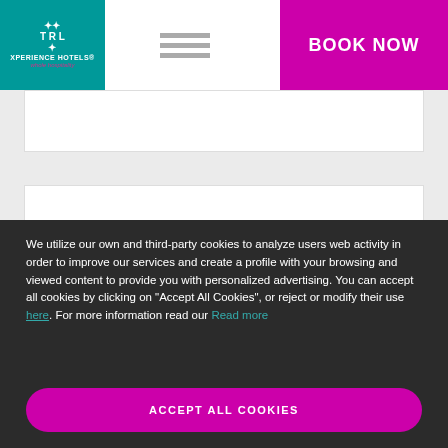[Figure (logo): Xperience Hotels logo with teal background, white icon and text, pink tagline 'whole hospitality']
[Figure (other): Hamburger menu icon with three horizontal gray bars]
[Figure (other): BOOK NOW button in magenta/purple background]
[Figure (other): White content area with border below header]
[Figure (other): Second white content area with border in gray section]
We utilize our own and third-party cookies to analyze users web activity in order to improve our services and create a profile with your browsing and viewed content to provide you with personalized advertising. You can accept all cookies by clicking on “Accept All Cookies”, or reject or modify their use here. For more information read our Read more
ACCEPT ALL COOKIES